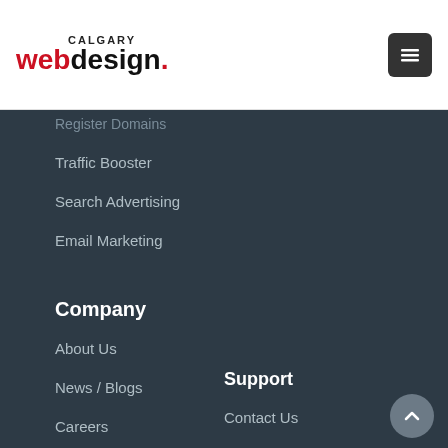Calgary Web Design
Register Domains
Traffic Booster
Search Advertising
Email Marketing
Company
About Us
News / Blogs
Careers
Testimonials
Support
Contact Us
Tutorials